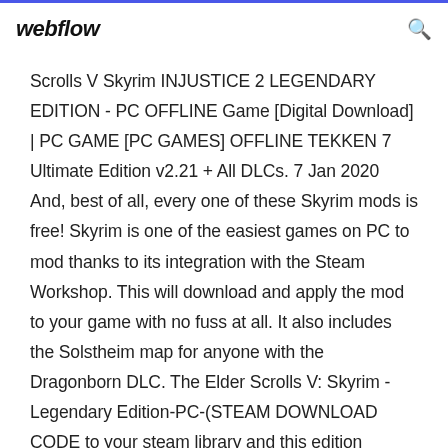webflow
Scrolls V Skyrim INJUSTICE 2 LEGENDARY EDITION - PC OFFLINE Game [Digital Download] | PC GAME [PC GAMES] OFFLINE TEKKEN 7 Ultimate Edition v2.21 + All DLCs. 7 Jan 2020 And, best of all, every one of these Skyrim mods is free! Skyrim is one of the easiest games on PC to mod thanks to its integration with the Steam Workshop. This will download and apply the mod to your game with no fuss at all. It also includes the Solstheim map for anyone with the Dragonborn DLC. The Elder Scrolls V: Skyrim - Legendary Edition-PC-(STEAM DOWNLOAD CODE to your steam library and this edition contains all the DLC's so no worries! Skyrim High Resolution Texture Pack, free and safe